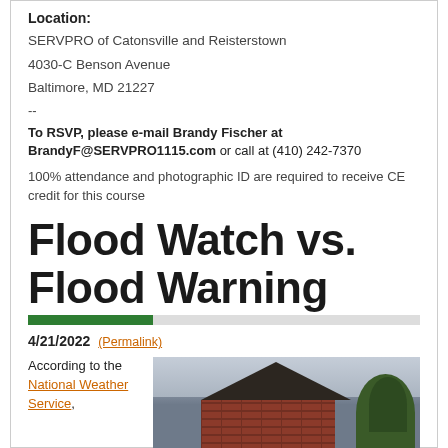Location:
SERVPRO of Catonsville and Reisterstown
4030-C Benson Avenue
Baltimore, MD 21227
--
To RSVP, please e-mail Brandy Fischer at BrandyF@SERVPRO1115.com or call at (410) 242-7370
100% attendance and photographic ID are required to receive CE credit for this course
Flood Watch vs. Flood Warning
4/21/2022 (Permalink)
According to the National Weather Service,